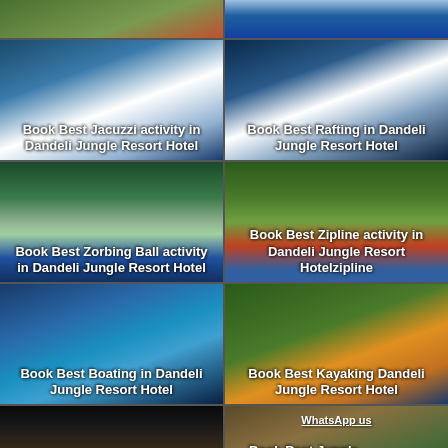[Figure (photo): Top left partial image - person on grass with red element]
[Figure (photo): Top right partial image - water activity at sunset]
[Figure (photo): Jacuzzi activity photo with overlay text: Book Best Jacuzzi activity in Dandeli Jungle Resort Hotel]
[Figure (photo): Rafting activity photo with overlay text: Book Best Rafting in Dandeli Jungle Resort Hotel]
[Figure (photo): Zorbing Ball activity photo with overlay text: Book Best Zorbing Ball activity in Dandeli Jungle Resort Hotel]
[Figure (photo): Zipline activity photo with overlay text: Book Best Zipline activity in Dandeli Jungle Resort Hotelzipline]
[Figure (photo): Boating activity photo with overlay text: Book Best Boating in Dandeli Jungle Resort Hotel]
[Figure (photo): Kayaking activity photo with overlay text: Book Best Kayaking Dandeli Jungle Resort Hotel]
[Figure (photo): Campfire activity photo with overlay text: Campfire Activity in Dandeli Jungle Resort Hotel]
[Figure (photo): Safari activity photo with overlay text: Book Best Jungle Sa... Dandeli Jungle Resort Hotel. Also shows WhatsApp us text and floating button.]